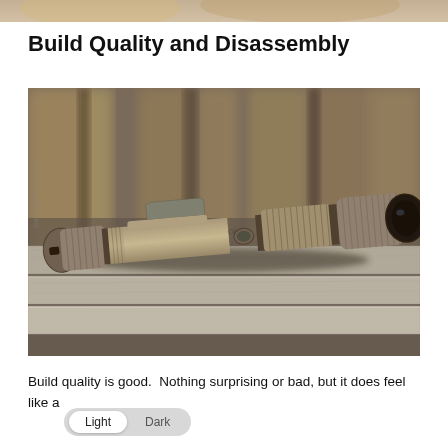[Figure (photo): Cropped top portion of a product review page showing a partial image at the very top of the page.]
Build Quality and Disassembly
[Figure (photo): A tactical flashlight (tan/desert color) lying on weathered wooden planks/boards. The flashlight has knurled grip sections, a side switch button, and appears to be a compact EDC-style light. The photo has a shallow depth of field with blurred background.]
Build quality is good.  Nothing surprising or bad, but it does feel like a